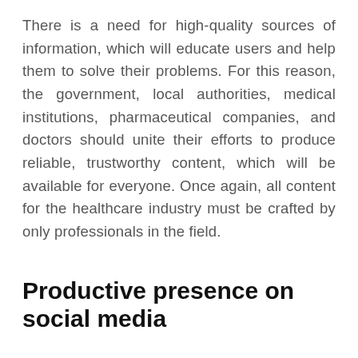There is a need for high-quality sources of information, which will educate users and help them to solve their problems. For this reason, the government, local authorities, medical institutions, pharmaceutical companies, and doctors should unite their efforts to produce reliable, trustworthy content, which will be available for everyone. Once again, all content for the healthcare industry must be crafted by only professionals in the field.
Productive presence on social media